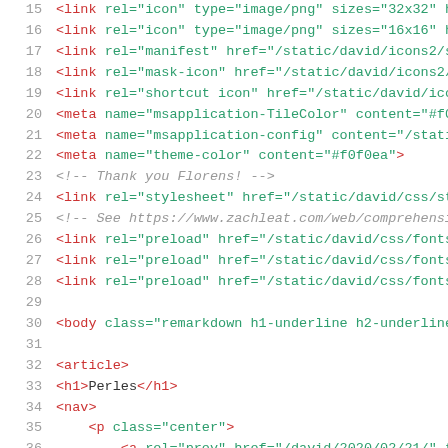Code listing showing HTML source lines 15-37, with syntax highlighting. Lines include link elements for icon, manifest, mask-icon, shortcut icon, meta elements for msapplication-TileColor, msapplication-config, theme-color, HTML comments, link for stylesheet and preload, body tag, article, h1, nav, p, and a elements.